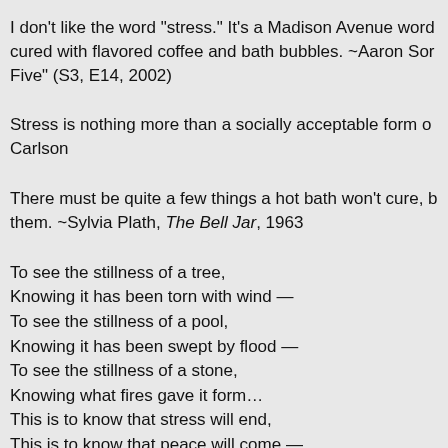I don't like the word "stress." It's a Madison Avenue word cured with flavored coffee and bath bubbles. ~Aaron Sorkin, "The West Wing," "Bartlet for America," Season 3, Episode 14 (S3, E14, 2002)
Stress is nothing more than a socially acceptable form of mental illness. ~Richard Carlson
There must be quite a few things a hot bath won't cure, but I don't know many of them. ~Sylvia Plath, The Bell Jar, 1963
To see the stillness of a tree,
Knowing it has been torn with wind —
To see the stillness of a pool,
Knowing it has been swept by flood —
To see the stillness of a stone,
Knowing what fires gave it form…
This is to know that stress will end,
This is to know that peace will come —
For wind and flood and flame have passed
To leave this quiet here at last.
~Roland English Hartley, "Stillness," in Arizona Highways